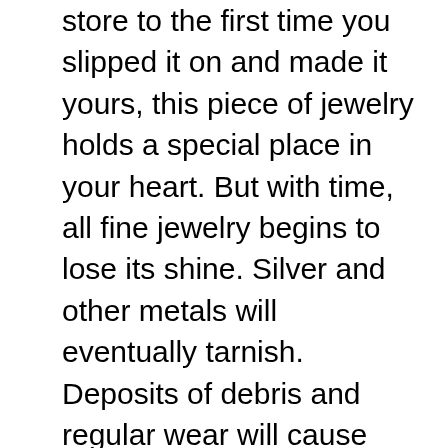store to the first time you slipped it on and made it yours, this piece of jewelry holds a special place in your heart. But with time, all fine jewelry begins to lose its shine. Silver and other metals will eventually tarnish. Deposits of debris and regular wear will cause gemstones to look dull and dirty. Following a daily jewelry cleaning regimen and jewelry care best practices can preserve the life of your jewelry and keep it looking great for many years. Here are some jewelry care tips to help you maintain the stunning appeal of your fine jewelry. Store your jewelry in a clean, dry space. This seems like an obvious tip, but at the end of the day, we've all been guilty of tossing our jewelry in a drawer or on the nightstand. It's best to keep your jewelry in a fabric-lined case that has compartments and dividers for your jewelry. If you